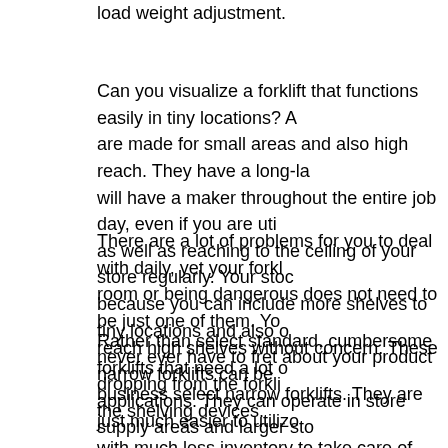load weight adjustment.
Can you visualize a forklift that functions easily in tiny locations? A are made for small areas and also high reach. They have a long-la will have a maker throughout the entire job day, even if you are uti as well as reaching to the ceiling of your store regularly. Your stoc because you can include more shelves to tiny locations and also o never ever have to fret about your product dropping from the forkli the shelving devices.
There are a lot of problems for you to deal with daily, yet your forkl room or being dangerous does not need to be just one of them. Yo reach high shelves without concern. These narrow forklifts can be applications. They can operate in store supply areas and larger sto
Rather than select standard, cumbersome forklifts that need a lot o business select narrow forklifts. They are just much easier to utilizo with much less inventory to take care of. Because of their toughne several larger business are additionally utilizing them. On the who love just how much easier their job ends up being. They no more o cabin. This can additionally make each organisation day run a littl